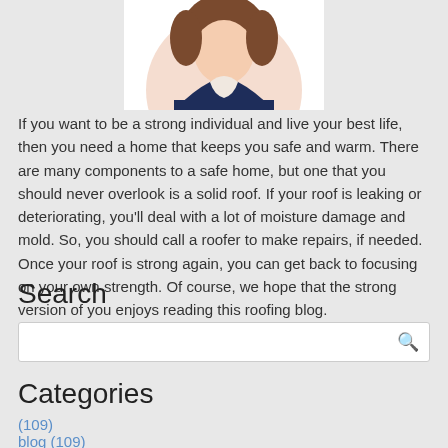[Figure (illustration): Partial illustration of a person — only the top portion visible showing brown hair and dark blue clothing on a white background, cropped at the top of the page.]
If you want to be a strong individual and live your best life, then you need a home that keeps you safe and warm. There are many components to a safe home, but one that you should never overlook is a solid roof. If your roof is leaking or deteriorating, you'll deal with a lot of moisture damage and mold. So, you should call a roofer to make repairs, if needed. Once your roof is strong again, you can get back to focusing on your own strength. Of course, we hope that the strong version of you enjoys reading this roofing blog.
Search
Categories
(109)
blog (109)